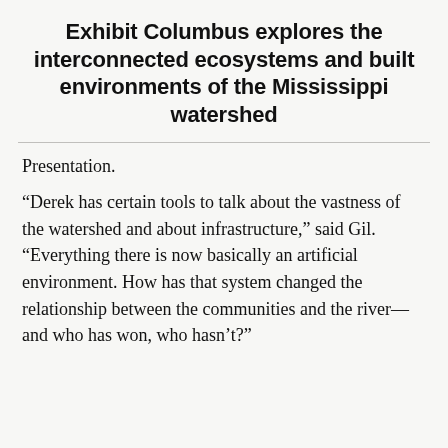Exhibit Columbus explores the interconnected ecosystems and built environments of the Mississippi watershed
Presentation.
“Derek has certain tools to talk about the vastness of the watershed and about infrastructure,” said Gil. “Everything there is now basically an artificial environment. How has that system changed the relationship between the communities and the river—and who has won, who hasn’t?”